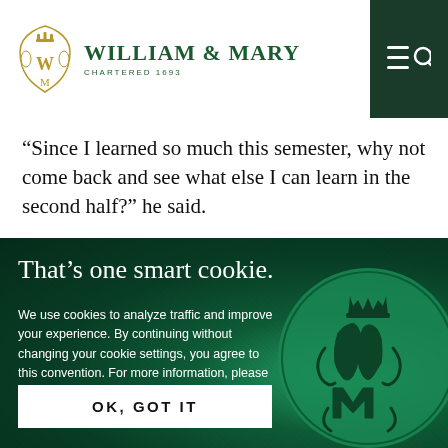William & Mary — Chartered 1693
“Since I learned so much this semester, why not come back and see what else I can learn in the second half?” he said.
That’s one smart cookie.
We use cookies to analyze traffic and improve your experience. By continuing without changing your cookie settings, you agree to this convention. For more information, please see our Privacy & Security Statement.
OK, GOT IT